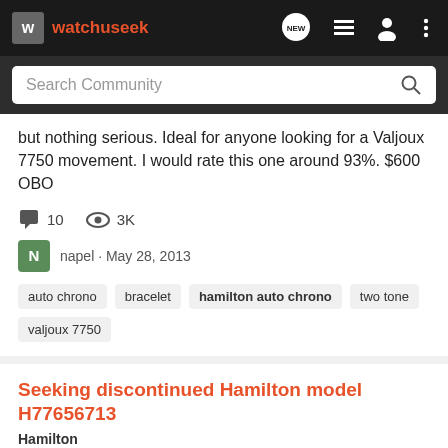watchuseek – nav bar with search
but nothing serious. Ideal for anyone looking for a Valjoux 7750 movement. I would rate this one around 93%. $600 OBO
10 comments · 3K views · napel · May 28, 2013
auto chrono
bracelet
hamilton auto chrono
two tone
valjoux 7750
Seeking discontinued Hamilton model H77656713
Hamilton
I only recently became interested in the Hamilton brand. After researching a bit, I'm quite smitten with a discontinued model: the Khaki x-wind auto chrono with a white face...